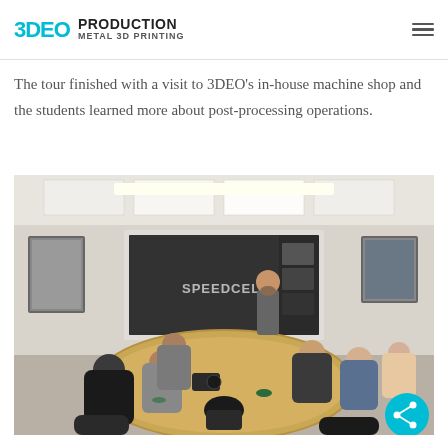3DEO PRODUCTION METAL 3D PRINTING
The tour finished with a visit to 3DEO's in-house machine shop and the students learned more about post-processing operations.
[Figure (photo): Group of students and instructors seated around a conference table in a meeting room. A projection screen at the front displays 'SPEEDCELL'. A bearded man stands near the screen. Framed pictures hang on the walls.]